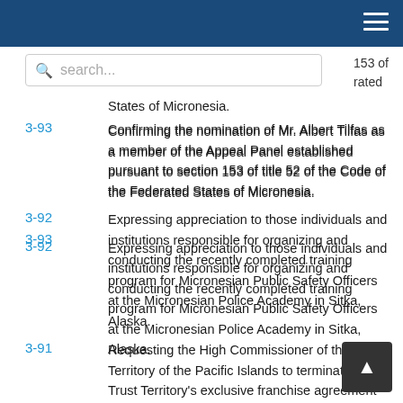3-93 Confirming the nomination of Mr. Albert Tilfas as a member of the Appeal Panel established pursuant to section 153 of title 52 of the Code of the Federated States of Micronesia.
3-92 Expressing appreciation to those individuals and institutions responsible for organizing and conducting the recently completed training program for Micronesian Public Safety Officers at the Micronesian Police Academy in Sitka, Alaska.
3-91 Requesting the High Commissioner of the Trust Territory of the Pacific Islands to terminate the Trust Territory's exclusive franchise agreement with Continental/Air Micronesia.
3-90 Ratifying the official overall economic development plan of the Federated Sates of Micronesia which is required by section 211 (b) of the Compact of Free Association.